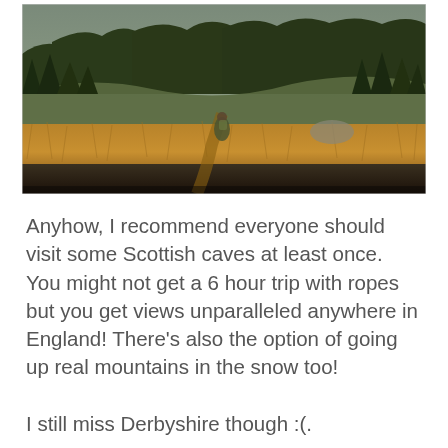[Figure (photo): A person walking through wild grassland with conifer forest on hills in background, overcast autumn scene, Scotland.]
Anyhow, I recommend everyone should visit some Scottish caves at least once. You might not get a 6 hour trip with ropes but you get views unparalleled anywhere in England! There’s also the option of going up real mountains in the snow too!
I still miss Derbyshire though :(.
Thanks to Tamlin for photos and organising the